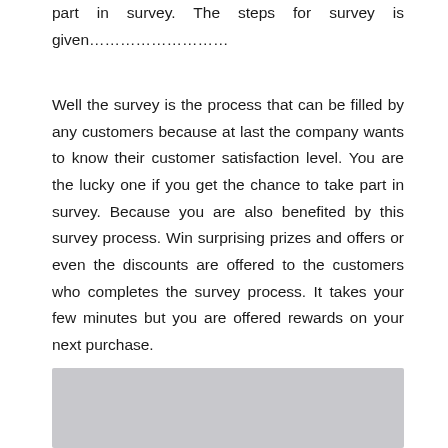part in survey. The steps for survey is given………………………
Well the survey is the process that can be filled by any customers because at last the company wants to know their customer satisfaction level. You are the lucky one if you get the chance to take part in survey. Because you are also benefited by this survey process. Win surprising prizes and offers or even the discounts are offered to the customers who completes the survey process. It takes your few minutes but you are offered rewards on your next purchase.
[Figure (other): Gray rectangular image placeholder at the bottom of the page]